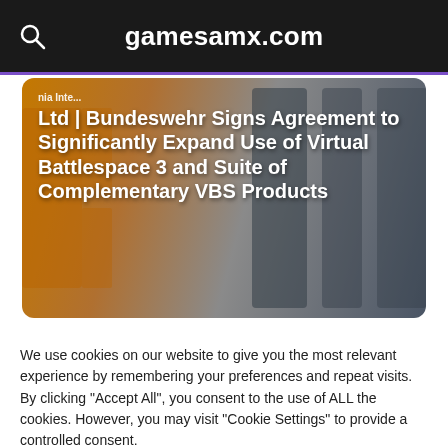gamesamx.com
[Figure (photo): Hero image with background showing large stylized letters in orange and dark grey, overlaid with white bold text: 'nia Inte... Ltd | Bundeswehr Signs Agreement to Significantly Expand Use of Virtual Battlespace 3 and Suite of Complementary VBS Products']
Ltd | Bundeswehr Signs Agreement to Significantly Expand Use of Virtual Battlespace 3 and Suite of Complementary VBS Products
We use cookies on our website to give you the most relevant experience by remembering your preferences and repeat visits. By clicking “Accept All”, you consent to the use of ALL the cookies. However, you may visit "Cookie Settings" to provide a controlled consent.